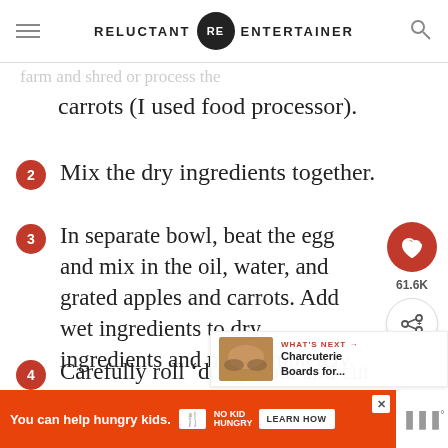RELUCTANT RE ENTERTAINER
carrots (I used food processor).
2 Mix the dry ingredients together.
3 In separate bowl, beat the egg and mix in the oil, water, and grated apples and carrots. Add wet ingredients to dry ingredients and mix completely.
4 Carefully roll ‘dough’ out and cut desired shape with a small cookie cutter.
WHAT'S NEXT → Charcuterie Boards for...
You can help hungry kids. NO KID HUNGRY LEARN HOW